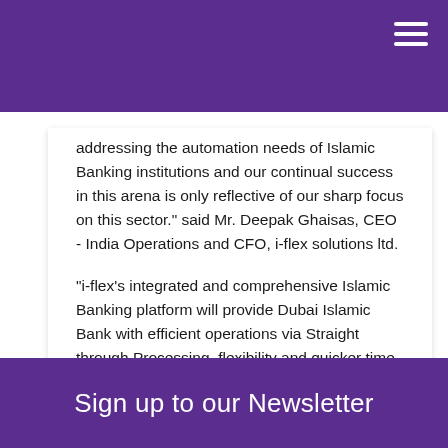addressing the automation needs of Islamic Banking institutions and our continual success in this arena is only reflective of our sharp focus on this sector." said Mr. Deepak Ghaisas, CEO - India Operations and CFO, i-flex solutions ltd.
"i-flex's integrated and comprehensive Islamic Banking platform will provide Dubai Islamic Bank with efficient operations via Straight through Processing, flexibility and quicker time to market for launch of new products and services," said Mr. Nadeem Busheri Group Head of IT, Dubai Islamic Bank.
Sign up to our Newsletter